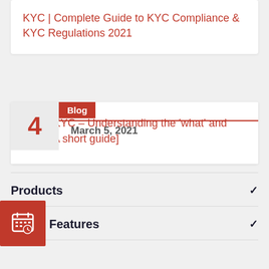KYC | Complete Guide to KYC Compliance & KYC Regulations 2021
Blog
4
March 5, 2021
Video KYC – Understanding the 'what' and 'how' [A short guide]
Products
Features